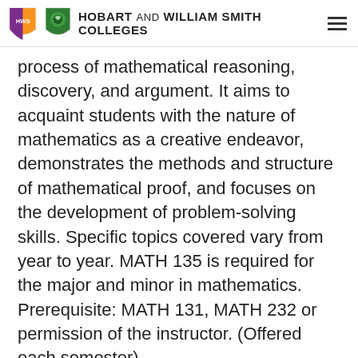HOBART AND WILLIAM SMITH COLLEGES
process of mathematical reasoning, discovery, and argument. It aims to acquaint students with the nature of mathematics as a creative endeavor, demonstrates the methods and structure of mathematical proof, and focuses on the development of problem-solving skills. Specific topics covered vary from year to year. MATH 135 is required for the major and minor in mathematics. Prerequisite: MATH 131, MATH 232 or permission of the instructor. (Offered each semester)